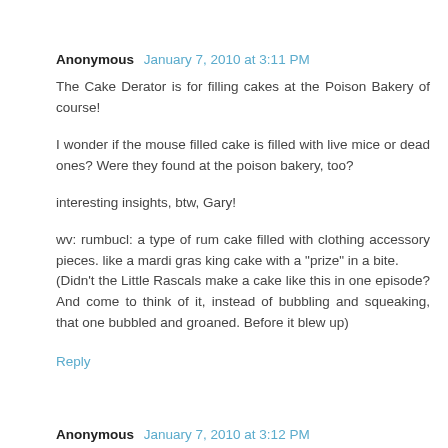Anonymous January 7, 2010 at 3:11 PM
The Cake Derator is for filling cakes at the Poison Bakery of course!

I wonder if the mouse filled cake is filled with live mice or dead ones? Were they found at the poison bakery, too?

interesting insights, btw, Gary!

wv: rumbucl: a type of rum cake filled with clothing accessory pieces. like a mardi gras king cake with a "prize" in a bite.
(Didn't the Little Rascals make a cake like this in one episode? And come to think of it, instead of bubbling and squeaking, that one bubbled and groaned. Before it blew up)
Reply
Anonymous January 7, 2010 at 3:12 PM